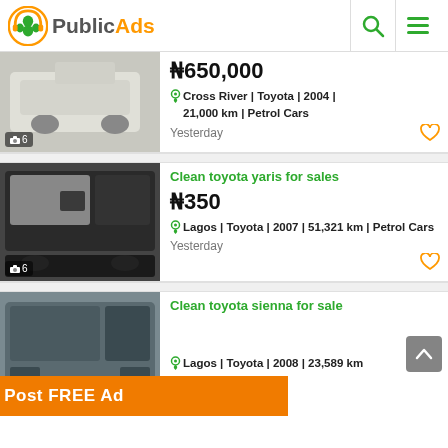PublicAds
[Figure (photo): White Toyota car rear view, 6 photos]
₦650,000
Cross River | Toyota | 2004 | 21,000 km | Petrol Cars
Yesterday
Clean toyota yaris for sales
[Figure (photo): Toyota Yaris interior view, 6 photos]
₦350
Lagos | Toyota | 2007 | 51,321 km | Petrol Cars
Yesterday
Clean toyota sienna for sale
[Figure (photo): Toyota Sienna exterior view]
Lagos | Toyota | 2008 | 23,589 km
Post FREE Ad